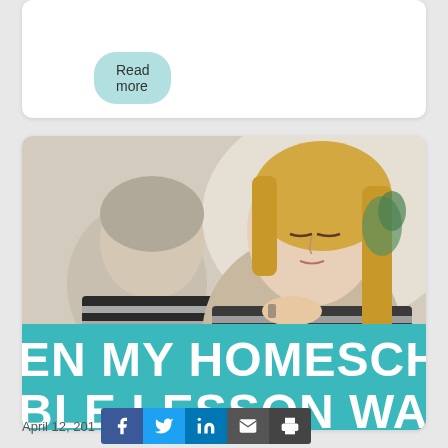Read more
[Figure (photo): A woman (mother/teacher) and a young child sitting together, looking down at something on a table, suggesting a homeschooling or tutoring scene. The image has a teal overlay banner at the bottom with large white bold text partially visible.]
EN MY HOMESCHOOLE BLE LESSON WAS FOR M
April 12, 201